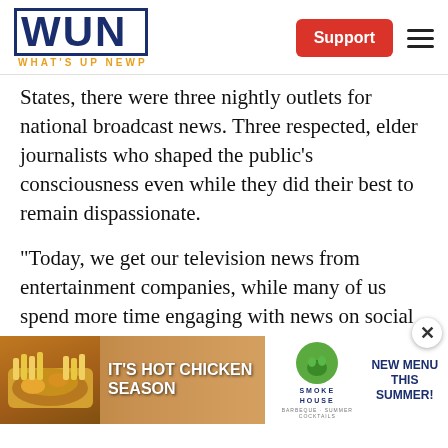WUN — WHAT'S UP NEWP
States, there were three nightly outlets for national broadcast news. Three respected, elder journalists who shaped the public's consciousness even while they did their best to remain dispassionate.
“Today, we get our television news from entertainment companies, while many of us spend more time engaging with news on social media,” Ludes said in a press release today. “As a result, there is no longer a national narrative to help guide policy makers. In
[Figure (screenshot): Advertisement banner: IT'S HOT CHICKEN SEASON — Smokehouse BBQ, New Menu This Summer!]